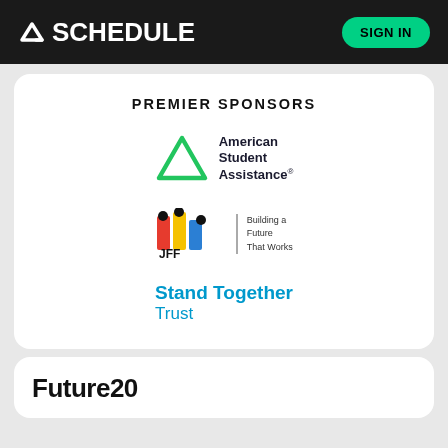← SCHEDULE   SIGN IN
PREMIER SPONSORS
[Figure (logo): American Student Assistance logo with green triangle icon and text]
[Figure (logo): JFF logo with colorful bar graphic and tagline 'Building a Future That Works']
[Figure (logo): Stand Together Trust logo in blue text]
Future20